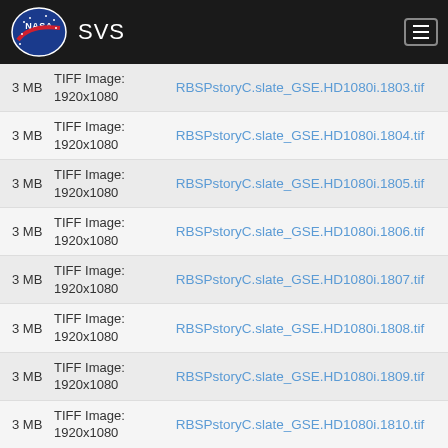NASA SVS
| Size | Type | Filename |
| --- | --- | --- |
| 3 MB | TIFF Image: 1920x1080 | RBSPstoryC.slate_GSE.HD1080i.1803.tif |
| 3 MB | TIFF Image: 1920x1080 | RBSPstoryC.slate_GSE.HD1080i.1804.tif |
| 3 MB | TIFF Image: 1920x1080 | RBSPstoryC.slate_GSE.HD1080i.1805.tif |
| 3 MB | TIFF Image: 1920x1080 | RBSPstoryC.slate_GSE.HD1080i.1806.tif |
| 3 MB | TIFF Image: 1920x1080 | RBSPstoryC.slate_GSE.HD1080i.1807.tif |
| 3 MB | TIFF Image: 1920x1080 | RBSPstoryC.slate_GSE.HD1080i.1808.tif |
| 3 MB | TIFF Image: 1920x1080 | RBSPstoryC.slate_GSE.HD1080i.1809.tif |
| 3 MB | TIFF Image: 1920x1080 | RBSPstoryC.slate_GSE.HD1080i.1810.tif |
| 3 MB | TIFF Image: 1920x1080 | RBSPstoryC.slate_GSE.HD1080i.1811.tif |
| 3 MB | TIFF Image: 1920x1080 | RBSPstoryC.slate_GSE.HD1080i.1812.tif |